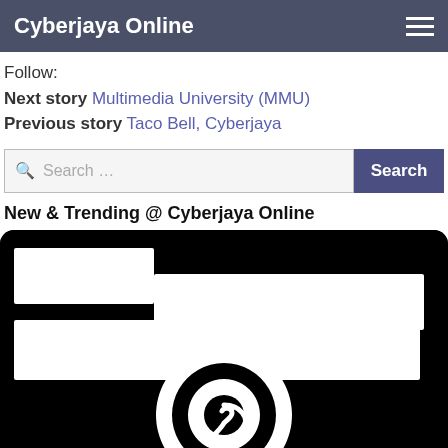Cyberjaya Online
Follow:
Next story Multimedia University (MMU)
Previous story Taco Bell, Cyberjaya
Search …
New & Trending @ Cyberjaya Online
[Figure (illustration): Black camera icon with white lens and body shapes, stylized photography icon]